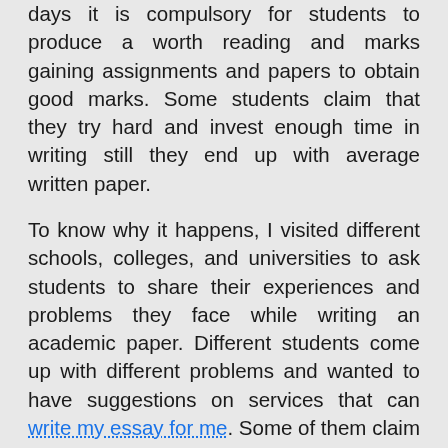days it is compulsory for students to produce a worth reading and marks gaining assignments and papers to obtain good marks. Some students claim that they try hard and invest enough time in writing still they end up with average written paper.
To know why it happens, I visited different schools, colleges, and universities to ask students to share their experiences and problems they face while writing an academic paper. Different students come up with different problems and wanted to have suggestions on services that can write my essay for me. Some of them claim that they don't get enough time to create worth reading assignments and some said they don't have good writing skills. After this, I decided to write an article having the solutions to their problems.